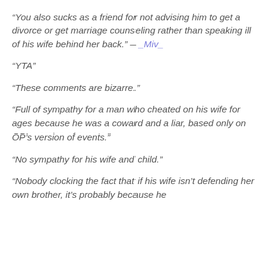“You also sucks as a friend for not advising him to get a divorce or get marriage counseling rather than speaking ill of his wife behind her back.” – _Miv_
“YTA”
“These comments are bizarre.”
“Full of sympathy for a man who cheated on his wife for ages because he was a coward and a liar, based only on OP’s version of events.”
“No sympathy for his wife and child.”
“Nobody clocking the fact that if his wife isn’t defending her own brother, it’s probably because he